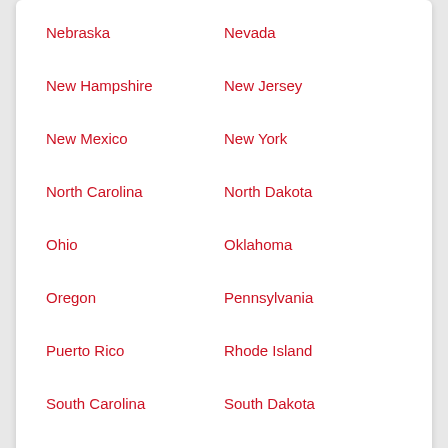Nebraska
Nevada
New Hampshire
New Jersey
New Mexico
New York
North Carolina
North Dakota
Ohio
Oklahoma
Oregon
Pennsylvania
Puerto Rico
Rhode Island
South Carolina
South Dakota
Tennessee
Texas
Utah
Vermont
Virginia
Washington
Washington, D.C.
West Virginia
Wisconsin
Wyoming